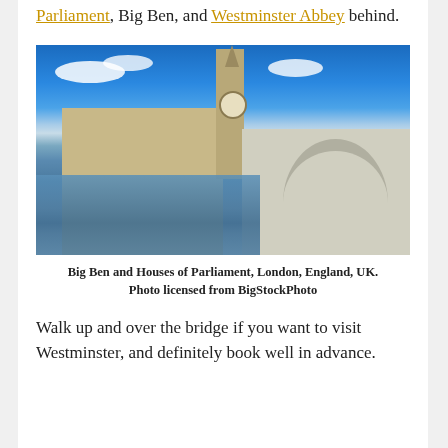Parliament, Big Ben, and Westminster Abbey behind.
[Figure (photo): Photo of Big Ben and the Houses of Parliament viewed from across the River Thames, with Westminster Bridge in the foreground, blue sky with clouds above.]
Big Ben and Houses of Parliament, London, England, UK. Photo licensed from BigStockPhoto
Walk up and over the bridge if you want to visit Westminster, and definitely book well in advance.